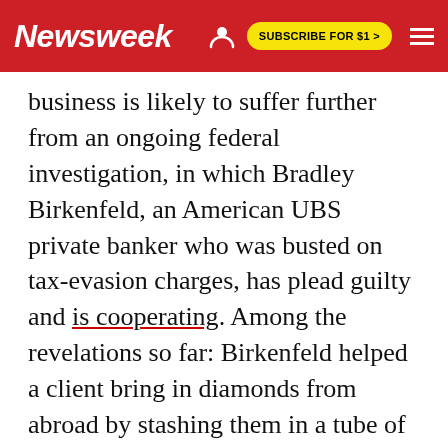Newsweek | SUBSCRIBE FOR $1 >
business is likely to suffer further from an ongoing federal investigation, in which Bradley Birkenfeld, an American UBS private banker who was busted on tax-evasion charges, has plead guilty and is cooperating. Among the revelations so far: Birkenfeld helped a client bring in diamonds from abroad by stashing them in a tube of toothpaste.
The carnage at UBS is far from over. Last Friday, on July 4, when U.S. markets were conveniently closed, it announced preliminary